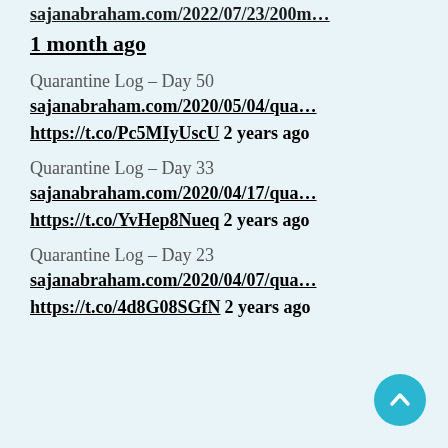sajanabraham.com/2022/07/23/200m…
1 month ago
Quarantine Log – Day 50
sajanabraham.com/2020/05/04/qua…
https://t.co/Pc5MIyUscU 2 years ago
Quarantine Log – Day 33
sajanabraham.com/2020/04/17/qua…
https://t.co/YvHep8Nueq 2 years ago
Quarantine Log – Day 23
sajanabraham.com/2020/04/07/qua…
https://t.co/4d8G08SGfN 2 years ago